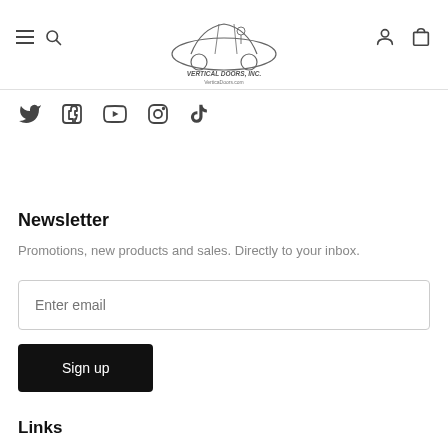[Figure (logo): Vertical Doors Inc logo with car illustration and website VerticlaDoors.com text]
[Figure (infographic): Social media icons row: Twitter, Facebook, YouTube, Instagram, TikTok]
Newsletter
Promotions, new products and sales. Directly to your inbox.
Enter email
Sign up
Links